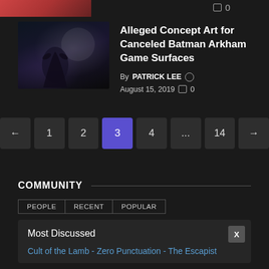[Figure (photo): Partial top strip showing a cropped image thumbnail at top of page]
0
[Figure (photo): Batman Arkham dark concept art showing batman figure against moonlit background]
Alleged Concept Art for Canceled Batman Arkham Game Surfaces
By PATRICK LEE ○ August 15, 2019 □ 0
← 1 2 3 4 ... 14 →
COMMUNITY
PEOPLE
RECENT
POPULAR
Most Discussed
Cult of the Lamb - Zero Punctuation - The Escapist